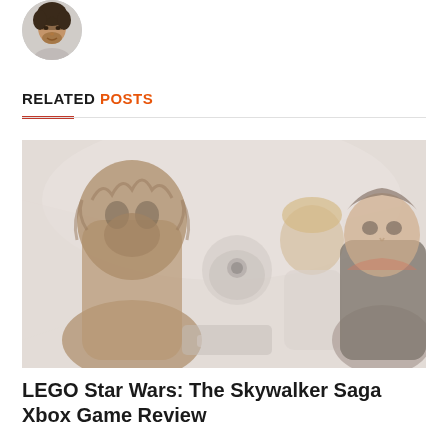[Figure (photo): Circular avatar photo of a man with curly dark hair wearing a light grey top]
RELATED POSTS
[Figure (illustration): LEGO Star Wars characters including Chewbacca, a droid, Luke Skywalker, and Han Solo from LEGO Star Wars: The Skywalker Saga video game, shown in a faded/washed-out style]
LEGO Star Wars: The Skywalker Saga Xbox Game Review